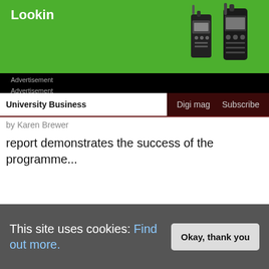[Figure (photo): Green advertisement banner with 'Lookin' text in white bold font and two Motorola walkie-talkie radios on the right side, black background]
Advertisement
Advertisement
University Business   Digi mag   Subscribe
by Karen Brewer
report demonstrates the success of the programme...
[Figure (photo): Dark blue thumbnail image for UCISA Webinar article]
UCISA Webinar
19th August 2022
[Figure (photo): Grid thumbnail with colourful nature/microscopy images for 3D glasses article]
University develops 3D printed glasses to help with colour blindness
This site uses cookies: Find out more.
Okay, thank you